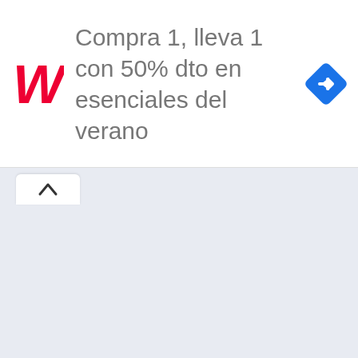[Figure (screenshot): Walgreens advertisement banner: logo on left, text 'Compra 1, lleva 1 con 50% dto en esenciales del verano', navigation arrow icon on right]
mary magdalene in Simple Ger
orion in Simple Gematria Equ
pleiades in Simple Gematria E
NOTEN QUE LA SUMA DE OR NEXO
master in Simple Gematria E
EN MASTER TAMBIEN TENE T